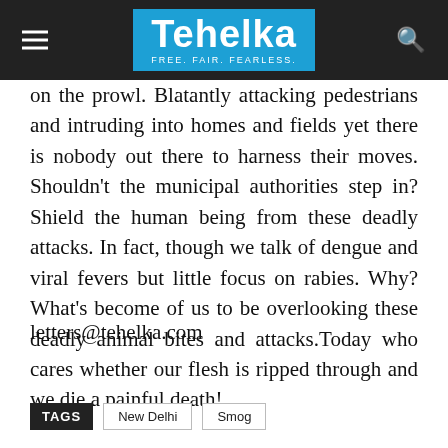Tehelka — FREE. FAIR. FEARLESS.
on the prowl. Blatantly attacking pedestrians and intruding into homes and fields yet there is nobody out there to harness their moves. Shouldn't the municipal authorities step in? Shield the human being from these deadly attacks. In fact, though we talk of dengue and viral fevers but little focus on rabies. Why? What's become of us to be overlooking these deadly animal bites and attacks.Today who cares whether our flesh is ripped through and we die a painful death!
letters@tehelka.com
TAGS  New Delhi  Smog